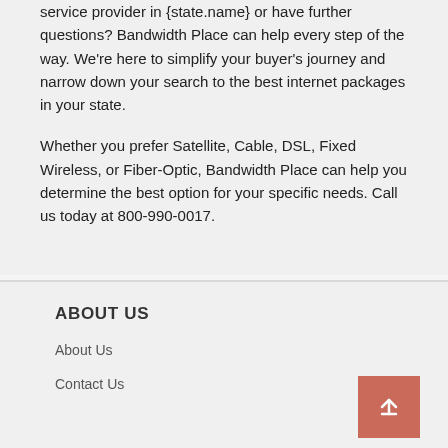service provider in {state.name} or have further questions? Bandwidth Place can help every step of the way. We're here to simplify your buyer's journey and narrow down your search to the best internet packages in your state.
Whether you prefer Satellite, Cable, DSL, Fixed Wireless, or Fiber-Optic, Bandwidth Place can help you determine the best option for your specific needs. Call us today at 800-990-0017.
ABOUT US
About Us
Contact Us